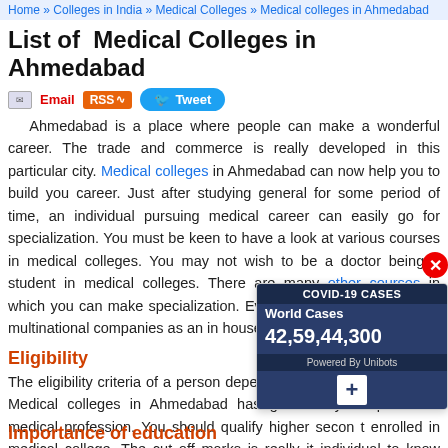Home » Colleges in India » Medical Colleges » Medical colleges in Ahmedabad
List of Medical Colleges in Ahmedabad
[Figure (infographic): Share buttons: Email icon, RSS button (orange), Tweet button (blue with Twitter bird icon)]
Ahmedabad is a place where people can make a wonderful career. The trade and commerce is really developed in this particular city. Medical colleges in Ahmedabad can now help you to build you career. Just after studying general for some period of time, an individual pursuing medical career can easily go for specialization. You must be keen to have a look at various courses in medical colleges. You may not wish to be a doctor being a student in medical colleges. There are many other courses in which you can make specialization. Even you can work in various multinational companies as an in house medical practitioner.
Eligibility
The eligibility criteria of a person depends on the courses taken up. Medical colleges in Ahmedabad has got variety of apart from medical profession. You should qualify higher secon enrolled in medical college. The cut off marks is really im individual to know before getting enrolled in the management college.
[Figure (infographic): COVID-19 CASES overlay widget showing World Cases 42,59,44,300, Powered By Unibots, with a close (X) button and plus icon]
Importance of education